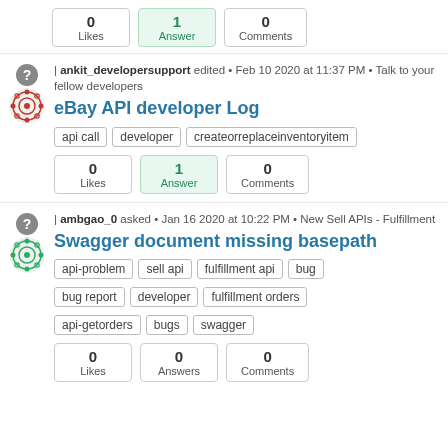0 Likes | 1 Answer | 0 Comments
| ankit_developersupport edited • Feb 10 2020 at 11:37 PM • Talk to your fellow developers
eBay API developer Log
api call | developer | createorreplaceinventoryitem
0 Likes | 1 Answer | 0 Comments
| ambgao_0 asked • Jan 16 2020 at 10:22 PM • New Sell APIs - Fulfillment
Swagger document missing basepath
api-problem | sell api | fulfillment api | bug | bug report | developer | fulfillment orders | api-getorders | bugs | swagger
0 Likes | 0 Answers | 0 Comments